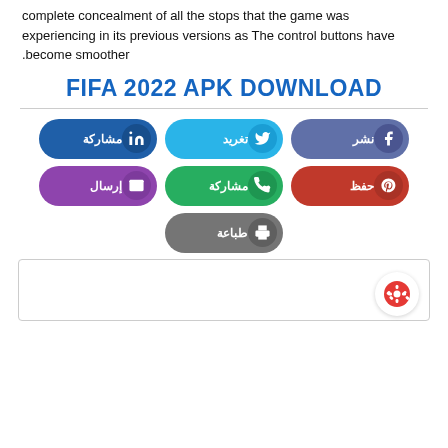complete concealment of all the stops that the game was experiencing in its previous versions as The control buttons have .become smoother
FIFA 2022 APK DOWNLOAD
[Figure (infographic): Social sharing buttons in Arabic: LinkedIn (مشاركة), Twitter (تغريد), Facebook (نشر), Email (إرسال), WhatsApp (مشاركة), Pinterest (حفظ), Print (طباعة)]
[Figure (other): White box with a red gear/settings icon button in the bottom right corner]